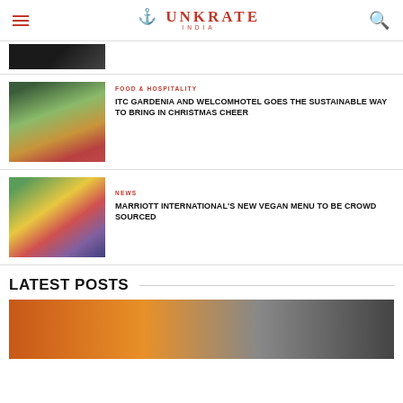UNKRATE INDIA
[Figure (photo): Partial image at top of article list, dark tones]
[Figure (photo): Hotel lobby with Christmas tree decoration made of gift boxes, festive red flowers]
FOOD & HOSPITALITY
ITC GARDENIA AND WELCOMHOTEL GOES THE SUSTAINABLE WAY TO BRING IN CHRISTMAS CHEER
[Figure (photo): Colorful vegan food bowls with vegetables, blueberries, greens, and grains in round white bowls]
NEWS
MARRIOTT INTERNATIONAL'S NEW VEGAN MENU TO BE CROWD SOURCED
LATEST POSTS
[Figure (photo): Person cooking at a food stall or kitchen, warm orange tones]